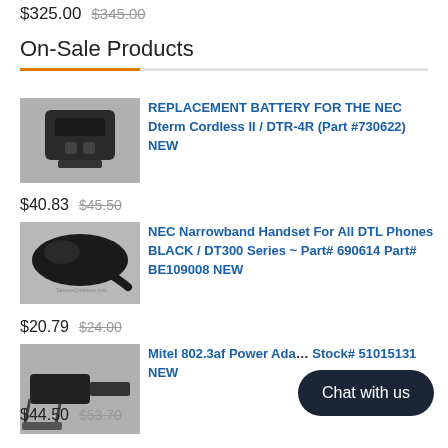$325.00  $345.00
On-Sale Products
[Figure (photo): Photo of NEC Dterm replacement battery, black rectangular battery pack]
REPLACEMENT BATTERY FOR THE NEC Dterm Cordless II / DTR-4R (Part #730622) NEW
$40.83  $45.50
[Figure (photo): Photo of black telephone handset for NEC Narrowband]
NEC Narrowband Handset For All DTL Phones BLACK / DT300 Series ~ Part# 690614 Part# BE109008 NEW
$20.79  $24.00
[Figure (photo): Photo of Mitel 802.3af Power Adapter with cable]
Mitel 802.3af Power Ada... Stock# 51015131 NEW
$44.50  $53.70